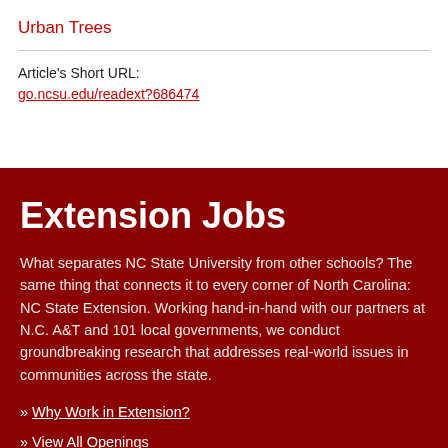Urban Trees
Article's Short URL:
go.ncsu.edu/readext?686474
Extension Jobs
What separates NC State University from other schools? The same thing that connects it to every corner of North Carolina: NC State Extension. Working hand-in-hand with our partners at N.C. A&T and 101 local governments, we conduct groundbreaking research that addresses real-world issues in communities across the state.
» Why Work in Extension?
» View All Openings